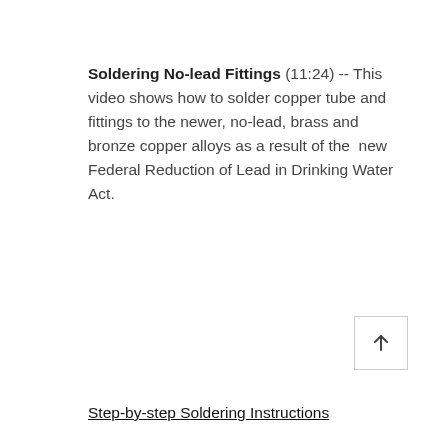Soldering No-lead Fittings (11:24) -- This video shows how to solder copper tube and fittings to the newer, no-lead, brass and bronze copper alloys as a result of the  new Federal Reduction of Lead in Drinking Water Act.
Step-by-step Soldering Instructions